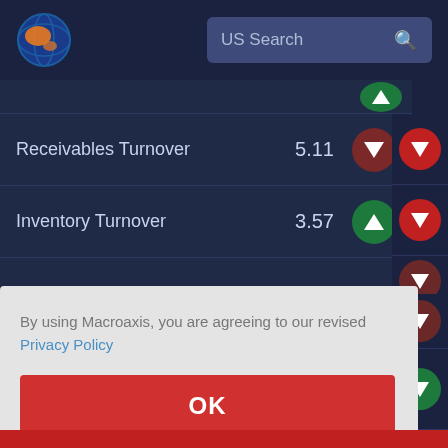[Figure (logo): Macroaxis globe logo with orange and blue colors]
US Search
| Metric | Value | Trend |
| --- | --- | --- |
| Receivables Turnover | 5.11 | down |
| Inventory Turnover | 3.57 | up |
By using Macroaxis, you are agreeing to our revised Privacy Policy
OK